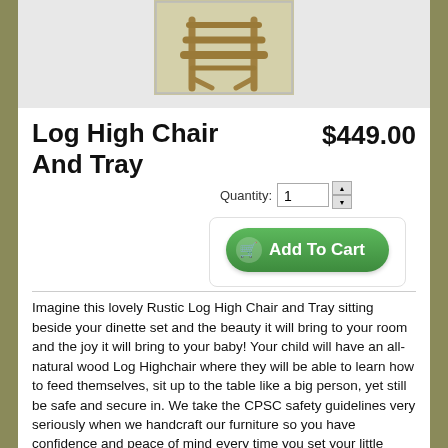[Figure (photo): Photo of a rustic log high chair with tray, natural wood construction, photographed on a light surface]
Log High Chair And Tray
$449.00
Quantity: 1
Add To Cart
Imagine this lovely Rustic Log High Chair and Tray sitting beside your dinette set and the beauty it will bring to your room and the joy it will bring to your baby! Your child will have an all-natural wood Log Highchair where they will be able to learn how to feed themselves, sit up to the table like a big person, yet still be safe and secure in. We take the CPSC safety guidelines very seriously when we handcraft our furniture so you have confidence and peace of mind every time you set your little baby in their High Chair.